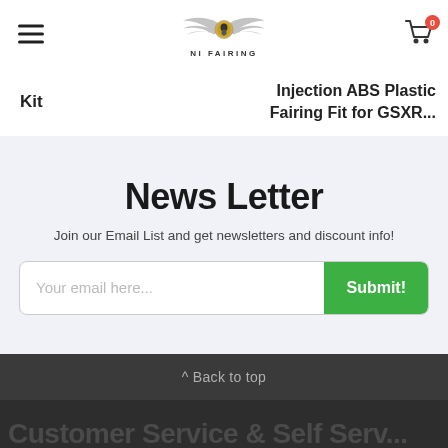NI FAIRING - navigation header with hamburger menu, logo, and cart
Kit
Injection ABS Plastic Fairing Fit for GSXR...
News Letter
Join our Email List and get newsletters and discount info!
Your email here...
Submit!
^ Back to top
Customer Service & Self Serv...